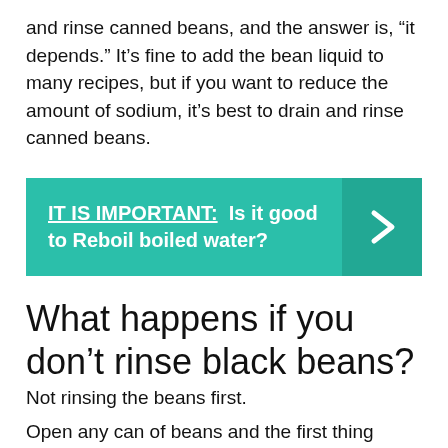and rinse canned beans, and the answer is, “it depends.” It’s fine to add the bean liquid to many recipes, but if you want to reduce the amount of sodium, it’s best to drain and rinse canned beans.
[Figure (infographic): Green callout box with text: IT IS IMPORTANT: Is it good to Reboil boiled water? with a right-arrow chevron on the right side.]
What happens if you don’t rinse black beans?
Not rinsing the beans first.
Open any can of beans and the first thing you’ll notice is the thick, goopy liquid that surrounds the beans. Not only is this liquid